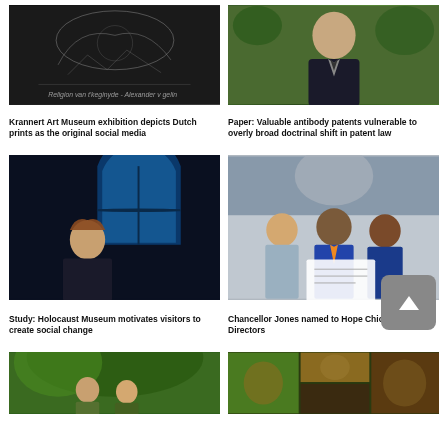[Figure (photo): Old Dutch print illustration with dark background]
Krannert Art Museum exhibition depicts Dutch prints as the original social media
[Figure (photo): Young man in suit and tie outdoors]
Paper: Valuable antibody patents vulnerable to overly broad doctrinal shift in patent law
[Figure (photo): Woman with reddish hair in dark jacket standing in front of a large arched window with blue light]
Study: Holocaust Museum motivates visitors to create social change
[Figure (photo): Three people standing together holding a document, with a mural in background]
Chancellor Jones named to Hope Chicago Board of Directors
[Figure (photo): Two people outdoors near a tree]
[Figure (photo): Collage of monkey/primate photos]